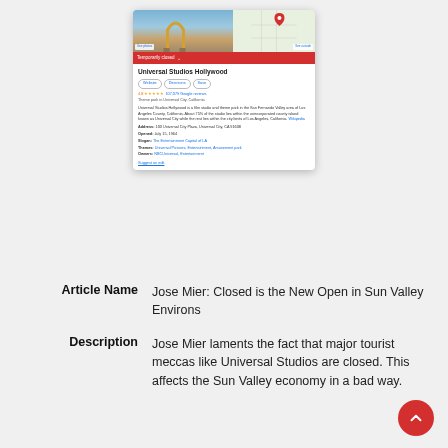[Figure (screenshot): Google Knowledge Panel screenshot for Universal Studios Hollywood showing photos, map, 'Temporarily closed' red bar, business title, website/directions/save buttons, 4.8 star rating with 107,079 Google reviews, address, opened date, slogan, themes, and owners fields]
|  |  |
| --- | --- |
| Article Name | Jose Mier: Closed is the New Open in Sun Valley Environs |
| Description | Jose Mier laments the fact that major tourist meccas like Universal Studios are closed. This affects the Sun Valley economy in a bad way. |